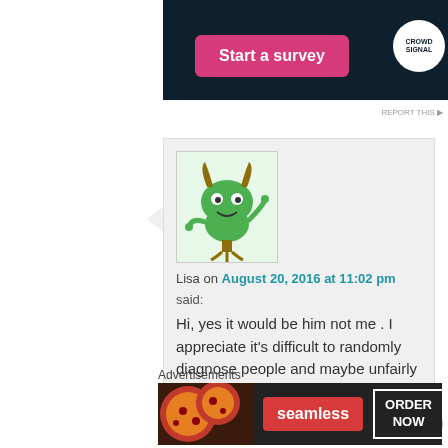[Figure (screenshot): Dark navy banner with pink 'Start a survey' button and Crowdsignal logo circle on the right]
REPORT THIS
[Figure (illustration): Green cartoon monster avatar with horns, used as user profile image]
Lisa on August 20, 2016 at 11:02 pm
said:
Hi, yes it would be him not me . I appreciate it's difficult to randomly diagnose people and maybe unfairly sometimes , however I just thought maybe
Advertisements
[Figure (screenshot): Seamless food delivery advertisement banner with pizza image, seamless red button, and ORDER NOW box]